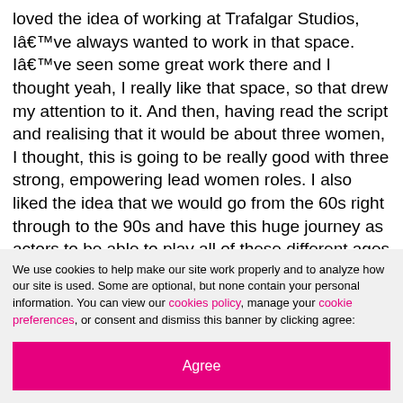loved the idea of working at Trafalgar Studios, Iâ€™ve always wanted to work in that space. Iâ€™ve seen some great work there and I thought yeah, I really like that space, so that drew my attention to it. And then, having read the script and realising that it would be about three women, I thought, this is going to be really good with three strong, empowering lead women roles. I also liked the idea that we would go from the 60s right through to the 90s and have this huge journey as actors to be able to play all of these different ages and different times in the womenâ€™s lives.
We use cookies to help make our site work properly and to analyze how our site is used. Some are optional, but none contain your personal information. You can view our cookies policy, manage your cookie preferences, or consent and dismiss this banner by clicking agree:
Agree